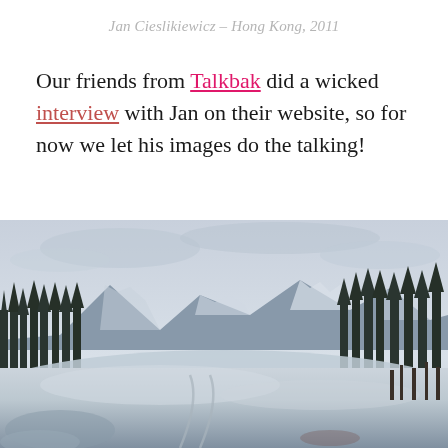Jan Cieslikiewicz – Hong Kong, 2011
Our friends from Talkbak did a wicked interview with Jan on their website, so for now we let his images do the talking!
[Figure (photo): Winter landscape photograph showing a frozen river or lake in the foreground with snow-covered ground, conifer trees lining both sides, snow-capped mountains in the background under an overcast sky. Tire tracks visible on the snowy surface.]